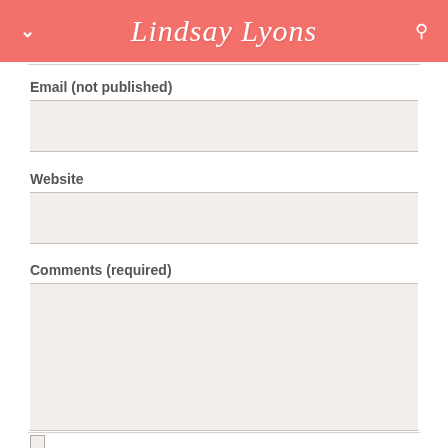Lindsay Lyons
Email (not published)
Website
Comments (required)